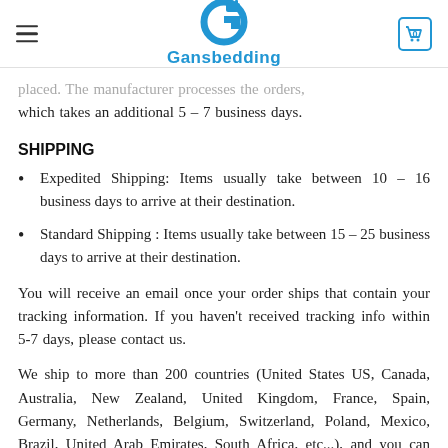Gansbedding
placed. The manufacturer processes the orders, which takes an additional 5 – 7 business days.
SHIPPING
Expedited Shipping: Items usually take between 10 – 16 business days to arrive at their destination.
Standard Shipping : Items usually take between 15 – 25 business days to arrive at their destination.
You will receive an email once your order ships that contain your tracking information. If you haven't received tracking info within 5-7 days, please contact us.
We ship to more than 200 countries (United States US, Canada, Australia, New Zealand, United Kingdom, France, Spain, Germany, Netherlands, Belgium, Switzerland, Poland, Mexico, Brazil, United Arab Emirates, South Africa, etc...), and you can enjoy on all items sold on the